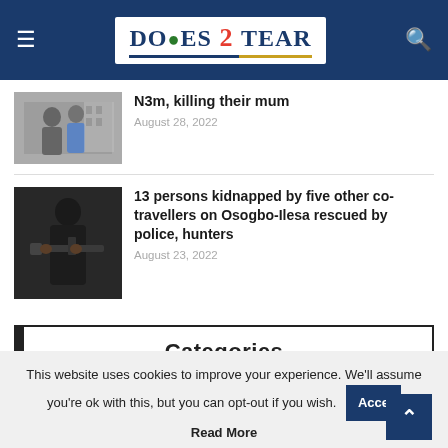Does2Tear — Navigation bar with logo, hamburger menu, and search icon
[Figure (photo): Two people standing outdoors near a building]
N3m, killing their mum
August 28, 2022
[Figure (photo): Person in dark clothing holding an assault rifle]
13 persons kidnapped by five other co-travellers on Osogbo-Ilesa rescued by police, hunters
August 23, 2022
Categories
This website uses cookies to improve your experience. We'll assume you're ok with this, but you can opt-out if you wish.
Accept
Read More